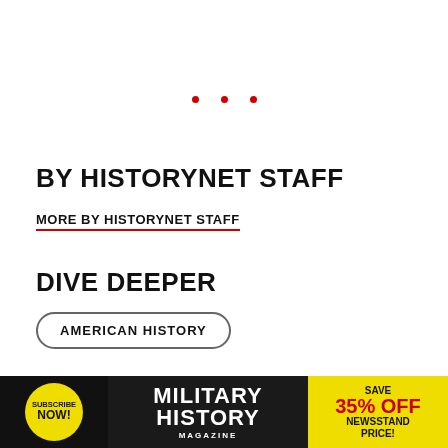[Figure (other): Three red dots centered near top]
BY HISTORYNET STAFF
MORE BY HISTORYNET STAFF
DIVE DEEPER
AMERICAN HISTORY
CITATION INFORMATION
APA | MLA | Harvard | Vancouver | Chicago
[Figure (infographic): Military History Magazine advertisement banner: Subscribe Now circle, Military History Magazine title, Save 35% Off Newsstand Price]